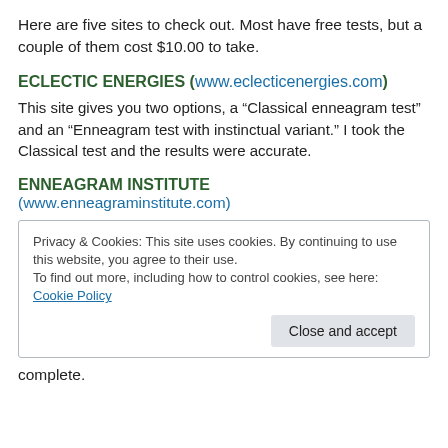Here are five sites to check out. Most have free tests, but a couple of them cost $10.00 to take.
ECLECTIC ENERGIES (www.eclecticenergies.com)
This site gives you two options, a “Classical enneagram test” and an “Enneagram test with instinctual variant.” I took the Classical test and the results were accurate.
ENNEAGRAM INSTITUTE
(www.enneagraminstitute.com)
Privacy & Cookies: This site uses cookies. By continuing to use this website, you agree to their use.
To find out more, including how to control cookies, see here: Cookie Policy
[Close and accept]
complete.